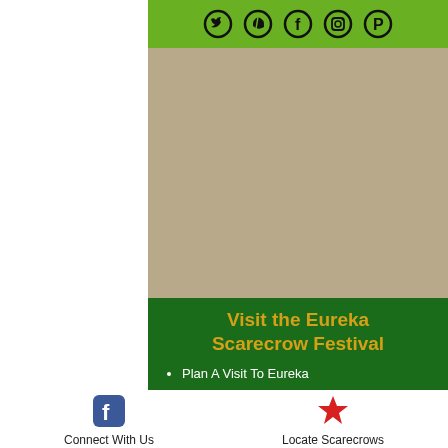[Figure (other): Green top bar with five social media icons (Twitter/X, leaf/nature, Facebook, Instagram, Pinterest) as dark circle outlines on bright green background]
[Figure (photo): Large tan/beige placeholder area representing an image of the Eureka Scarecrow Festival]
Visit the Eureka Scarecrow Festival
Plan A Visit To Eureka
Learn More about the Eureka Scarecrow Festival
[Figure (logo): Facebook logo icon in blue]
Connect With Us
[Figure (illustration): Red star icon for Locate Scarecrows]
Locate Scarecrows